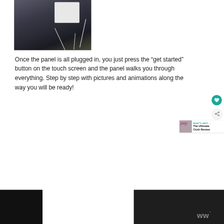[Figure (photo): Photo of a white smart home panel device plugged in, with cord/wire visible, against a dark background/wall.]
Once the panel is all plugged in, you just press the “get started” button on the touch screen and the panel walks you through everything. Step by step with pictures and animations along the way you will be ready!
[Figure (other): WHAT'S NEXT promotional banner: ysty logo with text 'The Ultimate Cloth Review']
[Figure (photo): Bottom partial images: black area on left, dark image with logo on right showing stylized 'w' degree symbol]